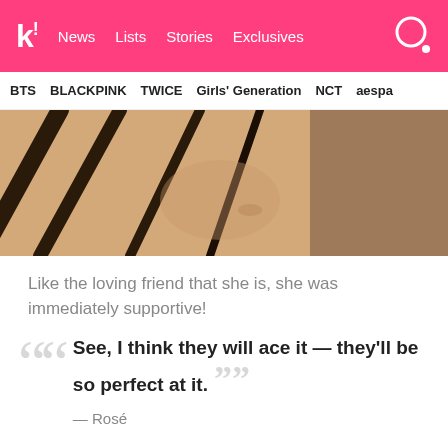k! News Lists Stories Exclusives
BTS BLACKPINK TWICE Girls' Generation NCT aespa
[Figure (photo): Close-up photo of a person's face with dark hair strands across skin]
Like the loving friend that she is, she was immediately supportive!
“See, I think they will ace it — they’ll be so perfect at it.” — Rosé